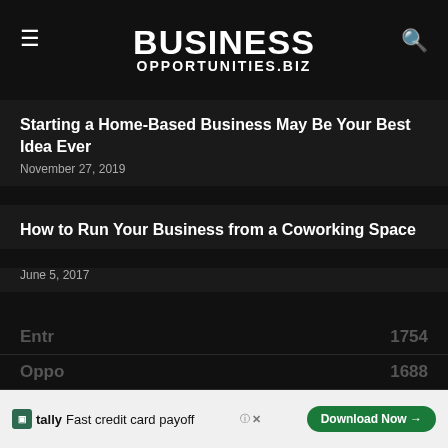BUSINESS OPPORTUNITIES.BIZ
Starting a Home-Based Business May Be Your Best Idea Ever
November 27, 2019
How to Run Your Business from a Coworking Space
June 5, 2017
POPULAR CATEGORY
Franchise Site  13015
Ideas  8042
Running Your Business  2846
Entrepreneurship  1754
Opportunities  1688
[Figure (other): Tally ad banner: Fast credit card payoff, Download Now button]